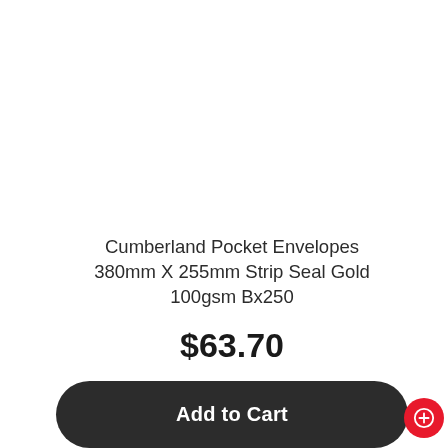[Figure (photo): Product image area (blank/white) for Cumberland Pocket Envelopes]
Cumberland Pocket Envelopes 380mm X 255mm Strip Seal Gold 100gsm Bx250
$63.70
Add to Cart